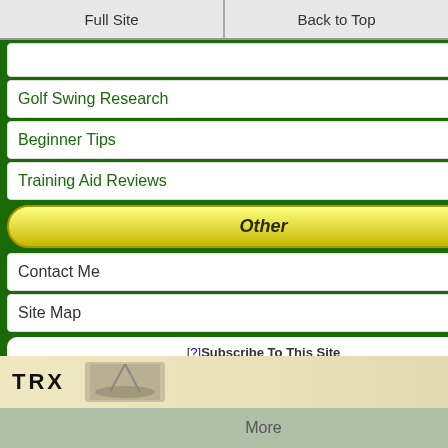Full Site | Back to Top
Golf Swing Research
Beginner Tips
Training Aid Reviews
Other
Contact Me
Site Map
[?]Subscribe To This Site
[Figure (screenshot): RSS feed button with orange background]
[Figure (screenshot): Google Follow button with green background]
[Figure (screenshot): Add to My Yahoo! button]
[Figure (screenshot): Amazon product ad showing resistance bands, Black Mountain Products..., $23.99, Shop now button]
[Figure (screenshot): Amazon.com Books ad with orange background]
[Figure (screenshot): TRX advertisement]
More | Facebook | Twitter | Pinterest | StumbleUpon | Google+